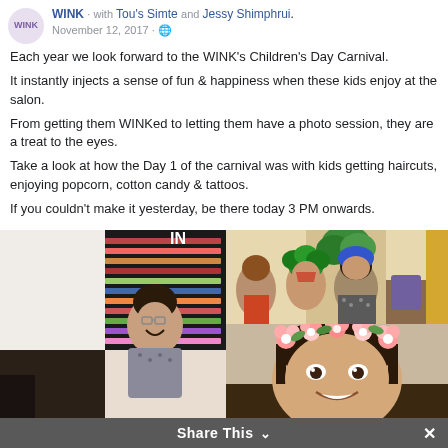WINK · Tou's Simte and Jessy Shimphrui. November 12, 2017
Each year we look forward to the WINK's Children's Day Carnival.
It instantly injects a sense of fun & happiness when these kids enjoy at the salon.
From getting them WINKed to letting them have a photo session, they are a treat to the eyes.
Take a look at how the Day 1 of the carnival was with kids getting haircuts, enjoying popcorn, cotton candy & tattoos.
If you couldn't make it yesterday, be there today 3 PM onwards.
#getwinked #iamsowinked #winkzoned #Carnival #Kids #Children #ChildrensDay #ChildrensDayCarnival #Fun #Frolic #Swag #Style #CuteKids #Haircut #Parents #WINK #Chennai #Alwarpet
[Figure (photo): Left: large photo of a child with an adult in a salon setting with nail polish display wall. Top right: group photo of kids in colorful carnival costumes in a decorated room. Bottom right: close-up photo of a girl wearing a flower crown filter.]
Share This